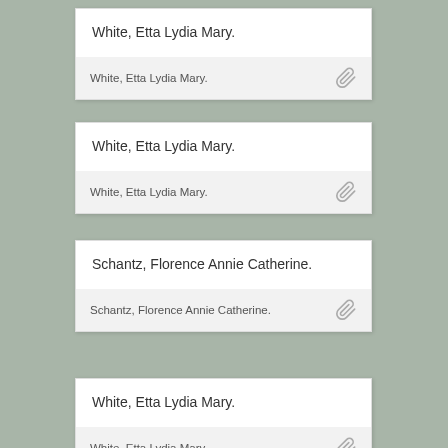White, Etta Lydia Mary.
White, Etta Lydia Mary.
White, Etta Lydia Mary.
White, Etta Lydia Mary.
Schantz, Florence Annie Catherine.
Schantz, Florence Annie Catherine.
White, Etta Lydia Mary.
White, Etta Lydia Mary.